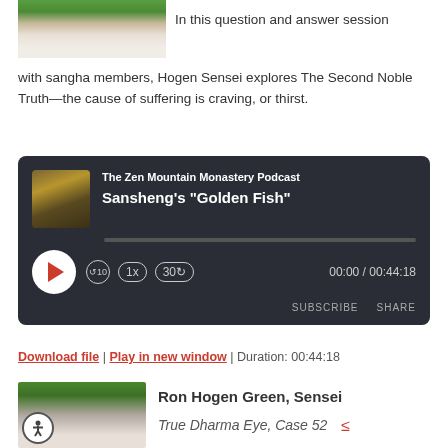[Figure (photo): Photo of Hogen Sensei in white robe, cropped at top]
In this question and answer session with sangha members, Hogen Sensei explores The Second Noble Truth—the cause of suffering is craving, or thirst.
[Figure (screenshot): Podcast player widget for The Zen Mountain Monastery Podcast, episode Sansheng's Golden Fish. Shows play button, 10 rewind, 1x speed, 30 forward, time 00:00 / 00:44:18, SUBSCRIBE and SHARE buttons.]
Download file | Play in new window | Duration: 00:44:18
[Figure (photo): Portrait photo of Ron Hogen Green, Sensei, bald man in white robe with accessibility icon overlay]
Ron Hogen Green, Sensei
True Dharma Eye, Case 52